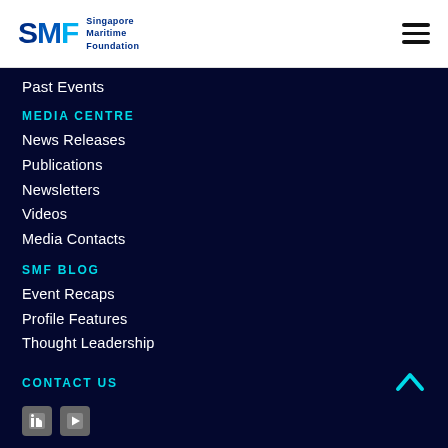[Figure (logo): SMF Singapore Maritime Foundation logo with hamburger menu icon]
Past Events
MEDIA CENTRE
News Releases
Publications
Newsletters
Videos
Media Contacts
SMF BLOG
Event Recaps
Profile Features
Thought Leadership
CONTACT US
[Figure (logo): LinkedIn and YouTube social media icons, and chevron up arrow]